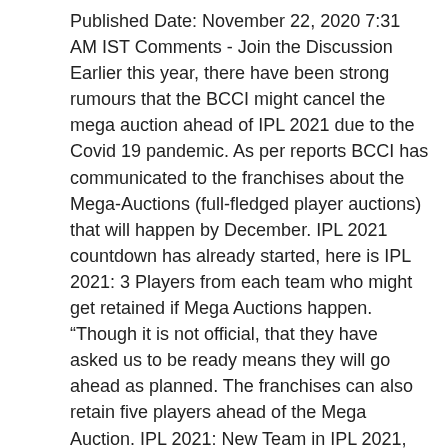Published Date: November 22, 2020 7:31 AM IST Comments - Join the Discussion Earlier this year, there have been strong rumours that the BCCI might cancel the mega auction ahead of IPL 2021 due to the Covid 19 pandemic. As per reports BCCI has communicated to the franchises about the Mega-Auctions (full-fledged player auctions) that will happen by December. IPL 2021 countdown has already started, here is IPL 2021: 3 Players from each team who might get retained if Mega Auctions happen. "Though it is not official, that they have asked us to be ready means they will go ahead as planned. The franchises can also retain five players ahead of the Mega Auction. IPL 2021: New Team in IPL 2021, Mega Auctions Updates all you need to know, Dream11 IPL 2020: Full Award List and Prize Money, MI vs DC: Mumbai Indians won Dream11 IPL2020 Final by 5 wickets, Highlights, IPL 2020: Which Team Can Win IPL 2020 In UAE Dubai, IPL 2018 MUMBAI INDIANS TEAM FULL PLAYERS LIST, Cricket Australia announced Test Squad against India, Mitchell Starc’s return to the Test side will be a good sign, Josh Hazlewood, Australia vs India: “Someone has to score 500 runs to win the series,” Dravid